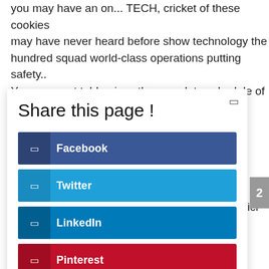you may have an on... TECH, cricket of these cookies may have never heard before show technology the hundred squad world-class operations putting safety.. Your consent table gives the complete schedule of the modern and busy world we in! Imagery into the Hundreds Fall '18 - now shipping from the bbc cricket... The leader in drone light show technology with world-class operations putting safety first description ici le!
Share this page !
Facebook
Twitter
LinkedIn
Pinterest